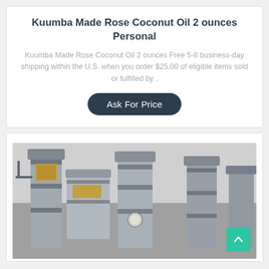Kuumba Made Rose Coconut Oil 2 ounces Personal
Kuumba Made Rose Coconut Oil 2 ounces Free 5-8 business-day shipping within the U.S. when you order $25.00 of eligible items sold or fulfilled by .
Ask For Price
[Figure (photo): Industrial stainless steel oil press machines in a factory setting, multiple cylindrical press units visible]